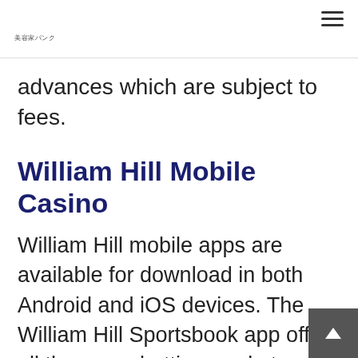美容家バンク
advances which are subject to fees.
William Hill Mobile Casino
William Hill mobile apps are available for download in both Android and iOS devices. The William Hill Sportsbook app offers all the same betting markets and leagues available through the website in an easy-to-use interface. Besides the welcome bonus, players at William Hill to enjoy fantastic reload bonuses for